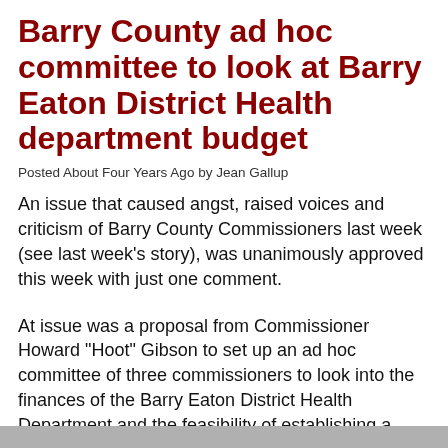Barry County ad hoc committee to look at Barry Eaton District Health department budget
Posted About Four Years Ago by Jean Gallup
An issue that caused angst, raised voices and criticism of Barry County Commissioners last week (see last week’s story), was unanimously approved this week with just one comment.
At issue was a proposal from Commissioner Howard “Hoot” Gibson to set up an ad hoc committee of three commissioners to look into the finances of the Barry Eaton District Health Department and the feasibility of establishing a separate Barry County Health Department.